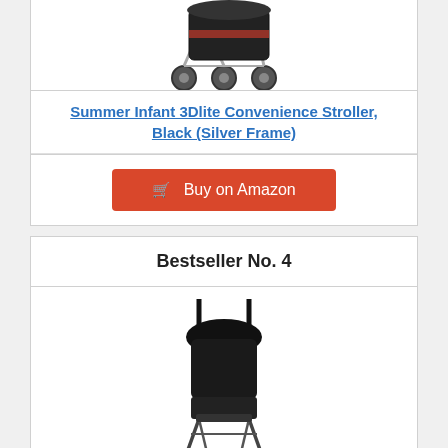[Figure (photo): Top portion of a stroller product image (Summer Infant 3Dlite), partially visible at top of page]
Summer Infant 3Dlite Convenience Stroller, Black (Silver Frame)
Buy on Amazon
Bestseller No. 4
[Figure (photo): Black umbrella stroller product image]